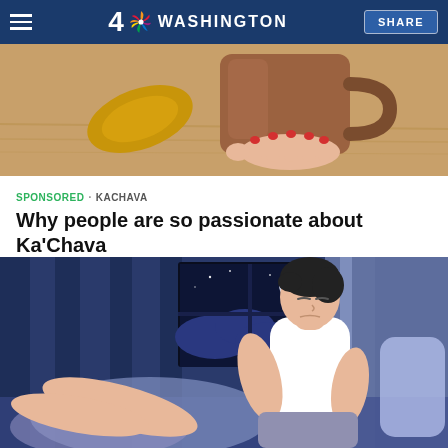4 NBC WASHINGTON  SHARE
[Figure (photo): Close-up photo of hands with red nail polish holding a brown ceramic mug on a wooden surface, with a cocoa pod nearby]
SPONSORED · KACHAVA
Why people are so passionate about Ka'Chava
[Figure (illustration): Illustration of a person in a white tank top sitting up in bed at night, with a moonlit window showing clouds and stars in the background, blue and purple color palette]